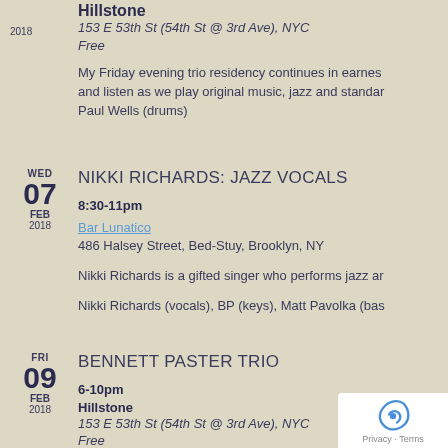Hillstone
153 E 53th St (54th St @ 3rd Ave), NYC
Free
My Friday evening trio residency continues in earnest and listen as we play original music, jazz and standards. Paul Wells (drums)
WED 07 FEB 2018
NIKKI RICHARDS: JAZZ VOCALS
8:30-11pm
Bar Lunatico
486 Halsey Street, Bed-Stuy, Brooklyn, NY
Nikki Richards is a gifted singer who performs jazz ar
Nikki Richards (vocals), BP (keys), Matt Pavolka (bas
FRI 09 FEB 2018
BENNETT PASTER TRIO
6-10pm
Hillstone
153 E 53th St (54th St @ 3rd Ave), NYC
Free